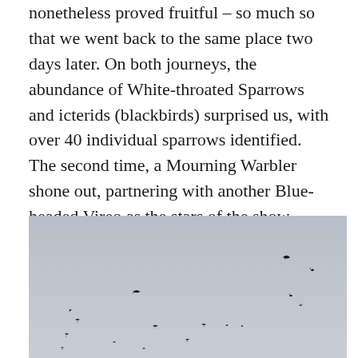nonetheless proved fruitful – so much so that we went back to the same place two days later. On both journeys, the abundance of White-throated Sparrows and icterids (blackbirds) surprised us, with over 40 individual sparrows identified. The second time, a Mourning Warbler shone out, partnering with another Blue-headed Vireo as the stars of the show.
[Figure (photo): Photograph of a grey sky with multiple small black birds (sparrows or icterids) in flight, scattered across the frame at various distances.]